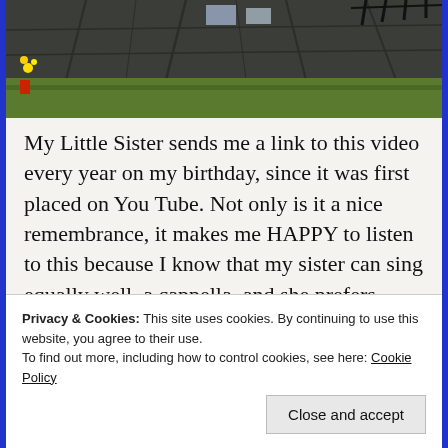[Figure (photo): Overhead view of stone pavement/memorial with grass edges, yellow flowers visible on the left side]
My Little Sister sends me a link to this video every year on my birthday, since it was first placed on You Tube. Not only is it a nice remembrance, it makes me HAPPY to listen to this because I know that my sister can sing equally well, a cappella, and she prefers HAPPY, upbeat music for herself, and to share. She has had more than her portion of heartache and tragedy, yet she is of such a strong good heart, that she is always trying to raise the
Privacy & Cookies: This site uses cookies. By continuing to use this website, you agree to their use.
To find out more, including how to control cookies, see here: Cookie Policy
Close and accept